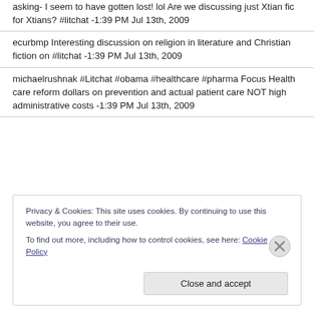asking- I seem to have gotten lost! lol Are we discussing just Xtian fic for Xtians? #litchat -1:39 PM Jul 13th, 2009
ecurbmp Interesting discussion on religion in literature and Christian fiction on #litchat -1:39 PM Jul 13th, 2009
michaelrushnak #Litchat #obama #healthcare #pharma Focus Health care reform dollars on prevention and actual patient care NOT high administrative costs -1:39 PM Jul 13th, 2009
Privacy & Cookies: This site uses cookies. By continuing to use this website, you agree to their use. To find out more, including how to control cookies, see here: Cookie Policy